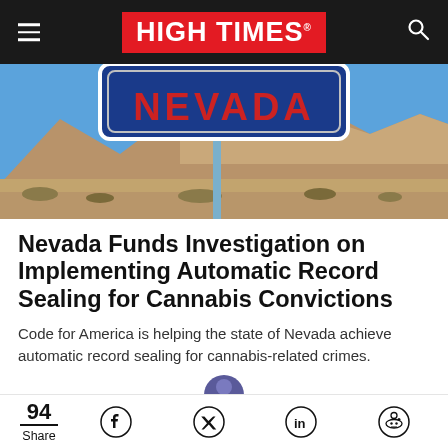HIGH TIMES
[Figure (photo): Nevada road sign in a desert landscape with mountains in the background and blue sky. The sign reads NEVADA.]
Nevada Funds Investigation on Implementing Automatic Record Sealing for Cannabis Convictions
Code for America is helping the state of Nevada achieve automatic record sealing for cannabis-related crimes.
94 Share | Facebook | Twitter | LinkedIn | Reddit